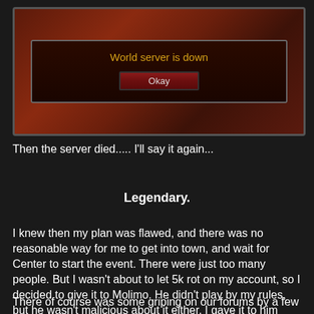[Figure (screenshot): World of Warcraft game screenshot showing a dialog box with dark reddish-brown background. The dialog reads 'World server is down' in yellow text, with an 'Okay' button below it in a red gradient button.]
Then the server died..... I'll say it again...
Legendary.
I knew then my plan was flawed, and there was no reasonable way for me to get into town, and wait for Center to start the event. There were just too many people. But I wasn't about to let 5k rot on my account, so I decided to give it to Molimo. He didn't play by my rules, but he wasn't malicious about it either. I gave it to him because he did hit me last, and was nice about it when I told him he had to do it again.
There of course was some griping on our forums by a few